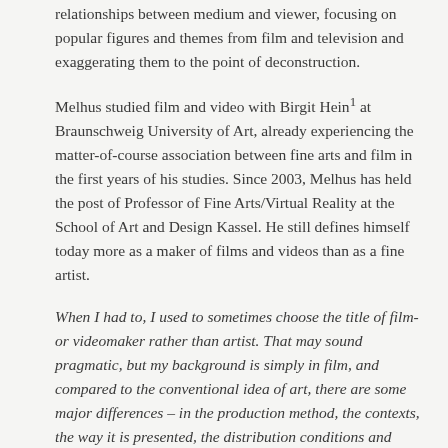relationships between medium and viewer, focusing on popular figures and themes from film and television and exaggerating them to the point of deconstruction.
Melhus studied film and video with Birgit Hein¹ at Braunschweig University of Art, already experiencing the matter-of-course association between fine arts and film in the first years of his studies. Since 2003, Melhus has held the post of Professor of Fine Arts/Virtual Reality at the School of Art and Design Kassel. He still defines himself today more as a maker of films and videos than as a fine artist.
When I had to, I used to sometimes choose the title of film- or videomaker rather than artist. That may sound pragmatic, but my background is simply in film, and compared to the conventional idea of art, there are some major differences – in the production method, the contexts, the way it is presented, the distribution conditions and above all in the environment for the work itself and the way it is treated.²
Bjørn Melhus’s films and videos are shown regularly at film and media art festivals such as the International